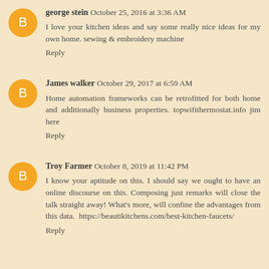george stein  October 25, 2016 at 3:36 AM
I love your kitchen ideas and say some really nice ideas for my own home. sewing & embroidery machine
Reply
James walker  October 29, 2017 at 6:59 AM
Home automation frameworks can be retrofitted for both home and additionally business properties. topwifithermostat.info jim here
Reply
Troy Farmer  October 8, 2019 at 11:42 PM
I know your aptitude on this. I should say we ought to have an online discourse on this. Composing just remarks will close the talk straight away! What's more, will confine the advantages from this data.  https://beautikitchens.com/best-kitchen-faucets/
Reply